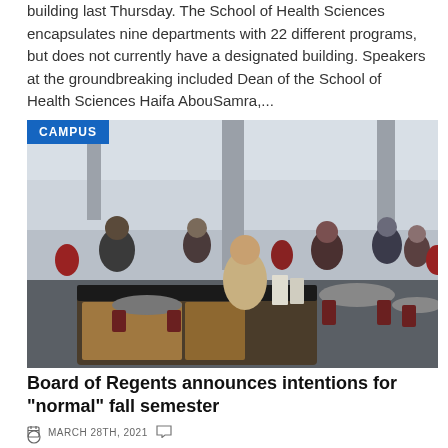building last Thursday. The School of Health Sciences encapsulates nine departments with 22 different programs, but does not currently have a designated building. Speakers at the groundbreaking included Dean of the School of Health Sciences Haifa AbouSamra,...
[Figure (photo): A busy campus cafeteria with students sitting at tables. A person in a beige t-shirt stands at a counter in the foreground. Large windows in the background. A blue 'CAMPUS' badge overlays the top-left corner.]
Board of Regents announces intentions for "normal" fall semester
MARCH 28TH, 2021